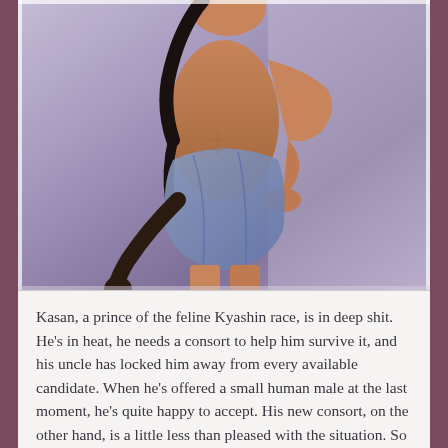[Figure (illustration): Digital illustration of Kasan, a male feline humanoid character with a dark tail, brown skin, and black hair in a ponytail, wearing a blue-grey draped cloth around his waist, posed with one hand on hip against a purple-grey background.]
Kasan, a prince of the feline Kyashin race, is in deep shit. He's in heat, he needs a consort to help him survive it, and his uncle has locked him away from every available candidate. When he's offered a small human male at the last moment, he's quite happy to accept. His new consort, on the other hand, is a little less than pleased with the situation. So what's a